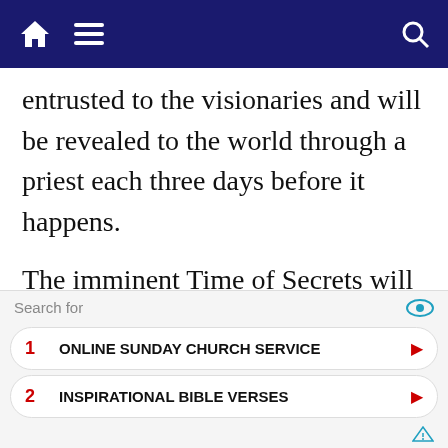Navigation bar with home, menu, and search icons
entrusted to the visionaries and will be revealed to the world through a priest each three days before it happens.
The imminent Time of Secrets will be a huge manifestation of God’s mercy. Men will be placed before a choice. It will be a dramatic time that will reveal things and hearts. Evil will show its
Search for
1  ONLINE SUNDAY CHURCH SERVICE
2  INSPIRATIONAL BIBLE VERSES